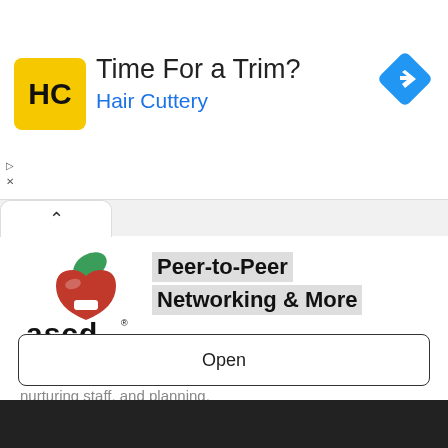[Figure (infographic): Hair Cuttery advertisement banner with yellow logo, 'Time For a Trim?' heading in black, 'Hair Cuttery' in blue, and a blue navigation diamond icon on the right]
[Figure (logo): ASCD logo with stylized apple icon (red shape with green leaf) above bold black 'ascd' text with registered trademark symbol]
Peer-to-Peer Networking & More
Explore adaptive leadership models for navigating change, nurturing staff, and planning.
ASCD
Open